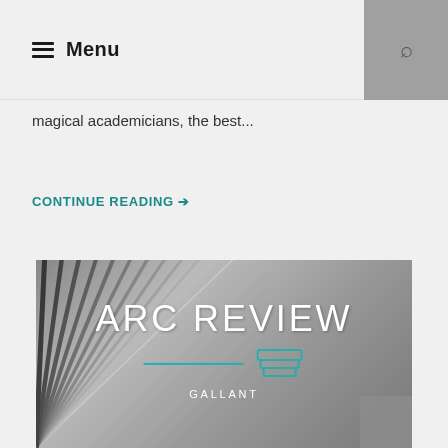Menu
magical academicians, the best...
CONTINUE READING →
[Figure (illustration): ARC Review banner image with open book pages in grayscale background, text 'ARC REVIEW' in white with a teal book icon and teal divider line, and 'GALLANT' subtitle below]